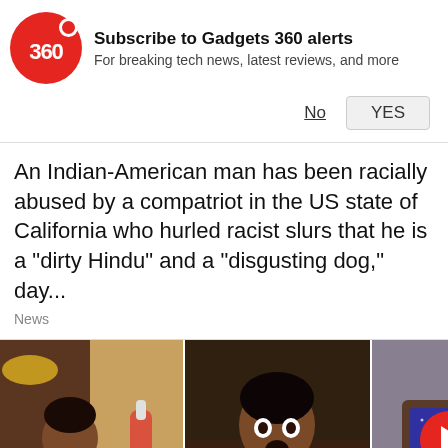[Figure (screenshot): Gadgets 360 notification subscription banner with red circular logo showing '360', bold subscribe title, subtitle text, and No/YES buttons]
An Indian-American man has been racially abused by a compatriot in the US state of California who hurled racist slurs that he is a "dirty Hindu" and a "disgusting dog," day...
News
[Figure (photo): Three-panel image: left panel shows a young toddler boy in yellow-green shirt sitting at a dining table with food; middle panel shows same toddler with surprised expression; right panel shows a video thumbnail of a TV displaying a galaxy image with a red play button overlay and close X button]
al: Adorable Toddler Serving Dosas His Mother Will Win Your Heart
5 Amritsari Curries Weekend Spread